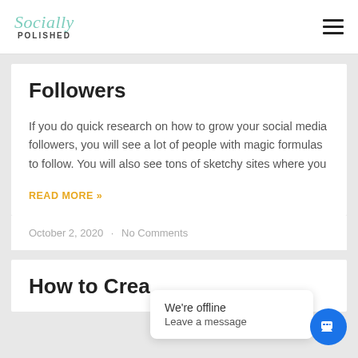Socially Polished
Followers
If you do quick research on how to grow your social media followers, you will see a lot of people with magic formulas to follow. You will also see tons of sketchy sites where you
READ MORE »
October 2, 2020 · No Comments
How to Crea